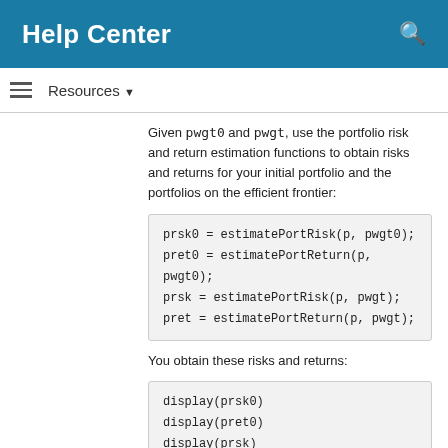Help Center
Resources ▾
Given pwgt0 and pwgt, use the portfolio risk and return estimation functions to obtain risks and returns for your initial portfolio and the portfolios on the efficient frontier:
prsk0 = estimatePortRisk(p, pwgt0);
pret0 = estimatePortReturn(p, pwgt0);
prsk = estimatePortRisk(p, pwgt);
pret = estimatePortReturn(p, pwgt);
You obtain these risks and returns:
display(prsk0)
display(pret0)
display(prsk)
display(pret)
prsk0 =

    0.0591